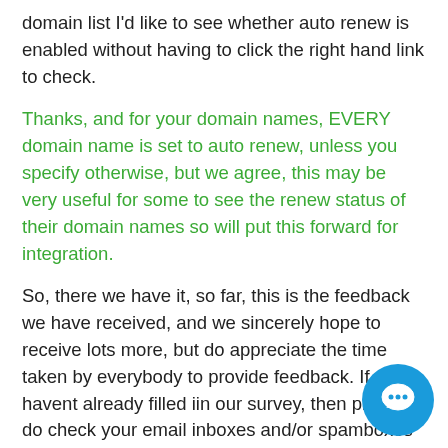domain list I'd like to see whether auto renew is enabled without having to click the right hand link to check.
Thanks, and for your domain names, EVERY domain name is set to auto renew, unless you specify otherwise, but we agree, this may be very useful for some to see the renew status of their domain names so will put this forward for integration.
So, there we have it, so far, this is the feedback we have received, and we sincerely hope to receive lots more, but do appreciate the time taken by everybody to provide feedback. If you havent already filled iin our survey, then please do check your email inboxes and/or spamboxes for our unique URL to the survey, or do ask us to send it to you again.
[Figure (illustration): Blue circular chat/support bubble icon in bottom right corner]